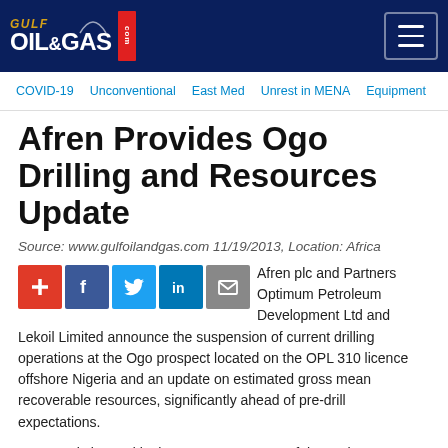GULF OIL & GAS .com
COVID-19   Unconventional   East Med   Unrest in MENA   Equipment
Afren Provides Ogo Drilling and Resources Update
Source: www.gulfoilandgas.com 11/19/2013, Location: Africa
[Figure (infographic): Social sharing icons: plus/add, Facebook, Twitter, LinkedIn, Email]
Afren plc and Partners Optimum Petroleum Development Ltd and Lekoil Limited announce the suspension of current drilling operations at the Ogo prospect located on the OPL 310 licence offshore Nigeria and an update on estimated gross mean recoverable resources, significantly ahead of pre-drill expectations.
OPL 310 is located in the Upper Cretaceous fairway that runs